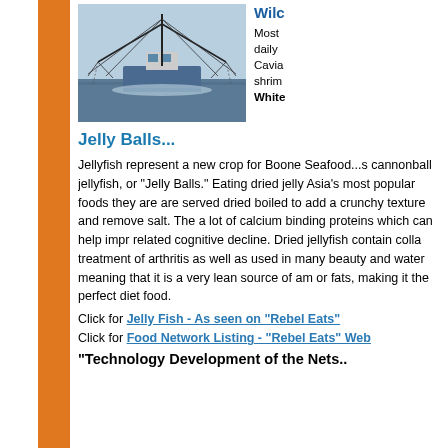[Figure (photo): A shrimp trawler boat on the water with nets deployed, photographed from the front]
Wilc
Most daily Cavia shrim White
Jelly Balls...
Jellyfish represent a new crop for Boone Seafood...s cannonball jellyfish, or "Jelly Balls." Eating dried jelly Asia's most popular foods they are are served dried boiled to add a crunchy texture and remove salt. The a lot of calcium binding proteins which can help impr related cognitive decline. Dried jellyfish contain colla treatment of arthritis as well as used in many beauty and water meaning that it is a very lean source of am or fats, making it the perfect diet food.
Click for Jelly Fish - As seen on "Rebel Eats"
Click for Food Network Listing - "Rebel Eats" Web
"Technology Development of the Nets..